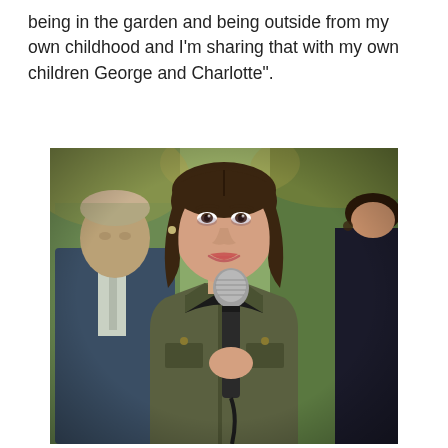being in the garden and being outside from my own childhood and I'm sharing that with my own children George and Charlotte".
[Figure (photo): A woman with dark wavy hair wearing an olive/khaki wax jacket and black scarf speaks into a handheld microphone. A man in a navy suit with white shirt and tie stands blurred in the background to the left. A partial figure is visible at the right edge. The background shows blurred outdoor greenery.]